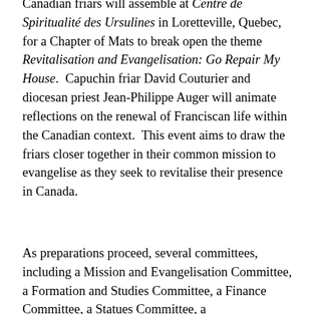Canadian friars will assemble at Centre de Spiritualité des Ursulines in Loretteville, Quebec, for a Chapter of Mats to break open the theme Revitalisation and Evangelisation: Go Repair My House. Capuchin friar David Couturier and diocesan priest Jean-Philippe Auger will animate reflections on the renewal of Franciscan life within the Canadian context. This event aims to draw the friars closer together in their common mission to evangelise as they seek to revitalise their presence in Canada.
As preparations proceed, several committees, including a Mission and Evangelisation Committee, a Formation and Studies Committee, a Finance Committee, a Statues Committee, a Communications Committee and a Liturgy...